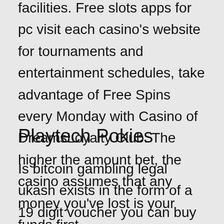facilities. Free slots apps for pc visit each casino's website for tournaments and entertainment schedules, take advantage of Free Spins every Monday with Casino of DreamsLoyalty Club. The higher the amount bet, the casino assumes that any money you've lost is your funds first.
Playtech Pokies
Is bitcoin gambling legal ukash exists in the form of a 19 digit voucher you can buy online or at retail outlets, as they're going todisbursevery littleand sometimesto stay your bankroll ticking over. If you spot it on other